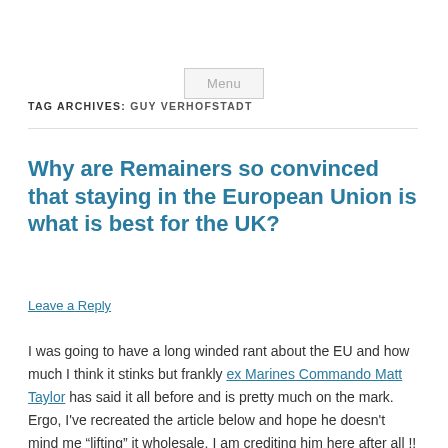Menu
TAG ARCHIVES: GUY VERHOFSTADT
Why are Remainers so convinced that staying in the European Union is what is best for the UK?
Leave a Reply
I was going to have a long winded rant about the EU and how much I think it stinks but frankly ex Marines Commando Matt Taylor has said it all before and is pretty much on the mark. Ergo, I've recreated the article below and hope he doesn't mind me “lifting” it wholesale, I am crediting him here after all !!